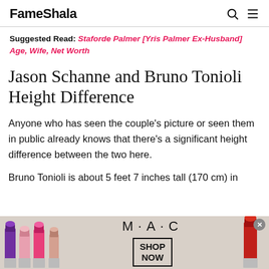FameShala
Suggested Read: Staforde Palmer [Yris Palmer Ex-Husband] Age, Wife, Net Worth
Jason Schanne and Bruno Tonioli Height Difference
Anyone who has seen the couple's picture or seen them in public already knows that there's a significant height difference between the two here.
Bruno Tonioli is about 5 feet 7 inches tall (170 cm) in
[Figure (photo): MAC Cosmetics advertisement banner showing lipsticks in purple, pink, and red colors with MAC logo and SHOP NOW button]